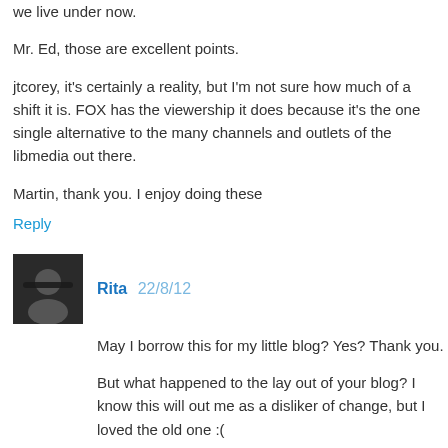we live under now.
Mr. Ed, those are excellent points.
jtcorey, it's certainly a reality, but I'm not sure how much of a shift it is. FOX has the viewership it does because it's the one single alternative to the many channels and outlets of the libmedia out there.
Martin, thank you. I enjoy doing these
Reply
Rita 22/8/12
May I borrow this for my little blog? Yes? Thank you.
But what happened to the lay out of your blog? I know this will out me as a disliker of change, but I loved the old one :(
Reply